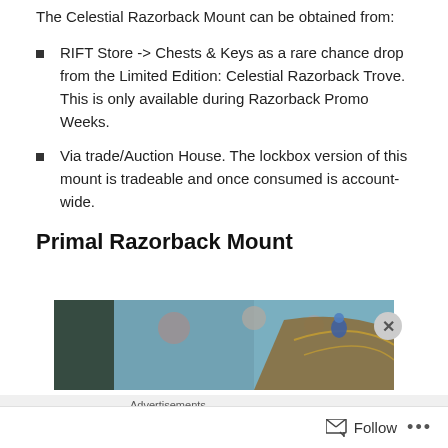The Celestial Razorback Mount can be obtained from:
RIFT Store -> Chests & Keys as a rare chance drop from the Limited Edition: Celestial Razorback Trove. This is only available during Razorback Promo Weeks.
Via trade/Auction House. The lockbox version of this mount is tradeable and once consumed is account-wide.
Primal Razorback Mount
[Figure (photo): Game screenshot showing a player riding the Primal Razorback mount in a fantasy environment with floating orbs/balloons and blue sky background]
Advertisements
[Figure (logo): Longreads advertisement banner in red with the Longreads logo and divider lines]
Follow ...